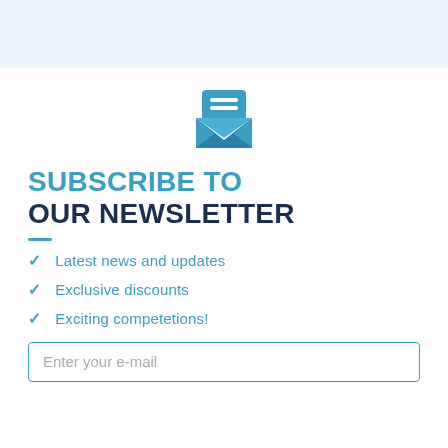[Figure (illustration): Open envelope icon with document/letter inside, in blue color, centered at top of content area]
SUBSCRIBE TO OUR NEWSLETTER
Latest news and updates
Exclusive discounts
Exciting competetions!
Enter your e-mail